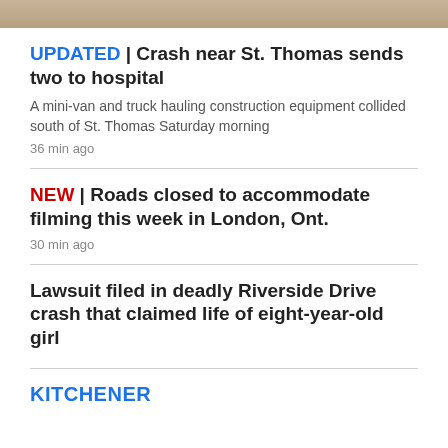[Figure (photo): Partial image of sandy/gravelly ground at top of page]
UPDATED | Crash near St. Thomas sends two to hospital
A mini-van and truck hauling construction equipment collided south of St. Thomas Saturday morning
36 min ago
NEW | Roads closed to accommodate filming this week in London, Ont.
30 min ago
Lawsuit filed in deadly Riverside Drive crash that claimed life of eight-year-old girl
KITCHENER